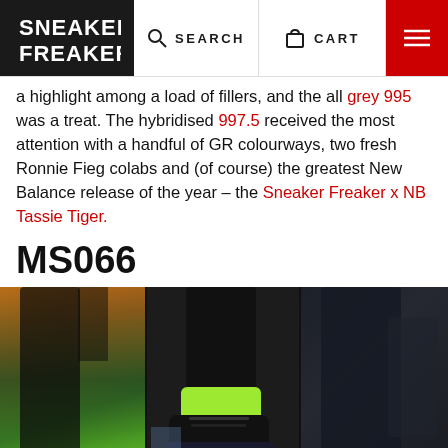SNEAKER FREAKER — Navigation bar with SEARCH, CART, and menu
a highlight among a load of fillers, and the all grey 995 was a treat. The hybridised 997.5 received the most attention with a handful of GR colourways, two fresh Ronnie Fieg colabs and (of course) the greatest New Balance release of the year – the Sneaker Freaker x NB Tassie Tiger.
MS066
[Figure (photo): Three-panel photo strip showing close-up views of sneakers/athletic shoes with black, green and dark colorways against dark backgrounds]
2016 Highlight Reel: New Balance | RELATED